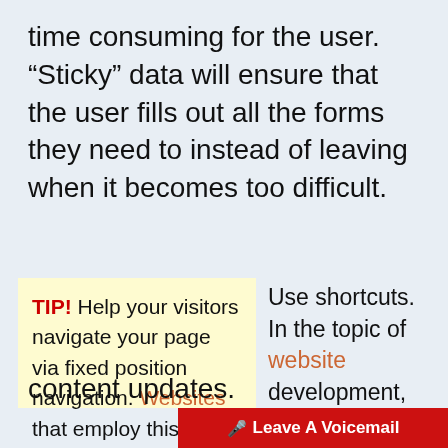time consuming for the user. “Sticky” data will ensure that the user fills out all the forms they need to instead of leaving when it becomes too difficult.
TIP! Help your visitors navigate your page via fixed position navigation. Websites that employ this technique have a navigation panel locked in place even when visitors scroll down.
Use shortcuts. In the topic of website development, there is a shortcut for everything. Knowing them will save you time and help you be more efficient. Even HTML codes can be used to implement quick
content updates.
Leave A Voicemail